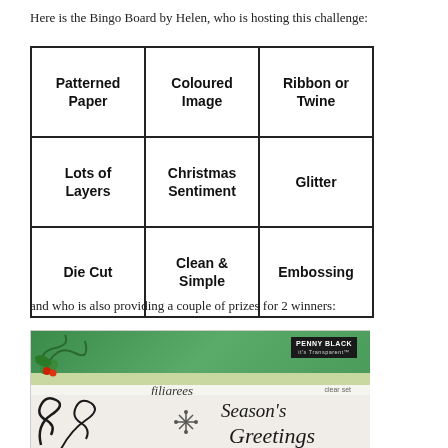Here is the Bingo Board by Helen, who is hosting this challenge:
| Patterned Paper | Coloured Image | Ribbon or Twine |
| Lots of Layers | Christmas Sentiment | Glitter |
| Die Cut | Clean & Simple | Embossing |
and who is also providing a couple of prizes for 2 winners:
[Figure (photo): Penny Black 'filigrees' clear stamp set package with green decorative header, showing swirling designs, a snowflake, and 'Season's Greetings' script text]